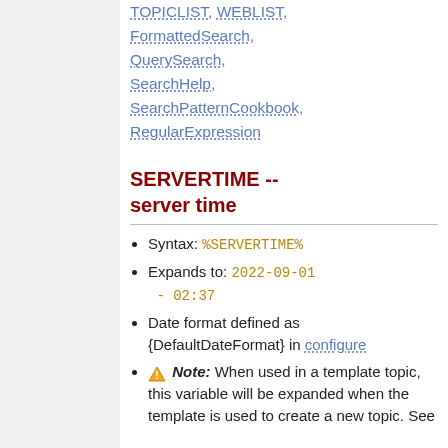TOPICLIST, WEBLIST, FormattedSearch, QuerySearch, SearchHelp, SearchPatternCookbook, RegularExpression
SERVERTIME -- server time
Syntax: %SERVERTIME%
Expands to: 2022-09-01 - 02:37
Date format defined as {DefaultDateFormat} in configure
⚠ Note: When used in a template topic, this variable will be expanded when the template is used to create a new topic. See